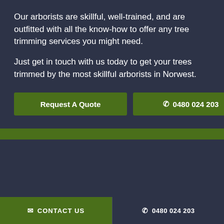Our arborists are skillful, well-trained, and are outfitted with all the know-how to offer any tree trimming services you might need.
Just get in touch with us today to get your trees trimmed by the most skillful arborists in Norwest.
Request A Quote
☎ 0480 024 203
✉ CONTACT US | ☎ 0480 024 203